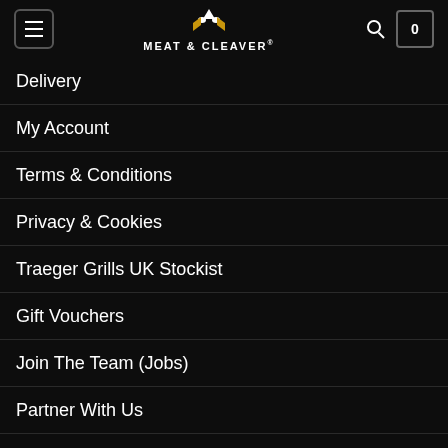MEAT & CLEAVER®
Delivery
My Account
Terms & Conditions
Privacy & Cookies
Traeger Grills UK Stockist
Gift Vouchers
Join The Team (Jobs)
Partner With Us
Blog
NEWSLETTER SIGN-UP